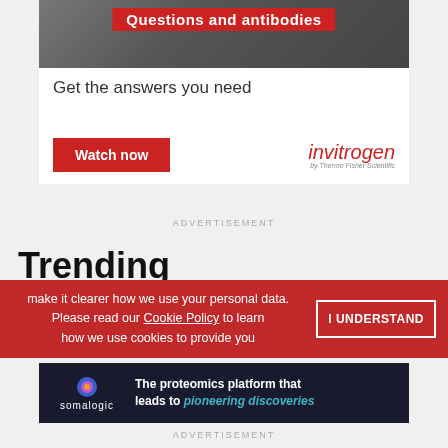[Figure (screenshot): Invitrogen advertisement banner with red overlay text 'Questions and antibodies', tagline 'Get the answers you need', a red 'Watch now' button, and the Invitrogen by Thermo Fisher Scientific logo]
ADVERTISEMENT
Trending
make it clearer how we use your personal data.
Please read our Cookie Policy to learn how we use cookies to provide you
I UNDERSTAND
[Figure (screenshot): Somalogic advertisement: dark background with somalogic logo and text 'The proteomics platform that leads to pioneering discoveries']
ADVERTISEMENT